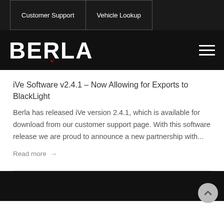Customer Support | Vehicle Lookup
[Figure (logo): BERLA logo in white text on black background with red accent mark, hamburger menu icon on right]
iVe Software v2.4.1 – Now Allowing for Exports to BlackLight
Berla has released iVe version 2.4.1, which is available for download from our customer support page. With this software release we are proud to announce a new partnership with...
Read more →
[Figure (photo): Dark/black image strip at bottom of page]